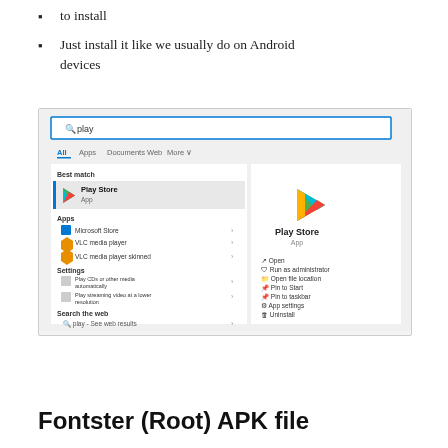to install
Just install it like we usually do on Android devices
[Figure (screenshot): Windows 11 Start Menu search showing 'play' query with Play Store as best match result, showing context menu options including Open, Run as administrator, Open file location, Pin to Start, Pin to taskbar, App settings, Uninstall]
Fontster (Root) APK file